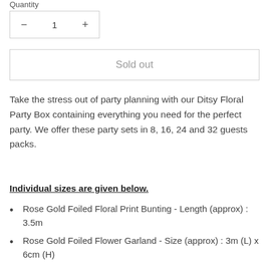Quantity
- 1 +
Sold out
Take the stress out of party planning with our Ditsy Floral Party Box containing everything you need for the perfect party. We offer these party sets in 8, 16, 24 and 32 guests packs.
Individual sizes are given below.
Rose Gold Foiled Floral Print Bunting - Length (approx) : 3.5m
Rose Gold Foiled Flower Garland - Size (approx) : 3m (L) x 6cm (H)